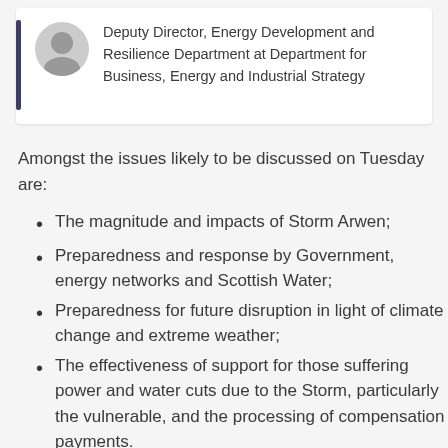[Figure (other): Profile card with avatar icon, dark vertical border, and text: Deputy Director, Energy Development and Resilience Department at Department for Business, Energy and Industrial Strategy]
Amongst the issues likely to be discussed on Tuesday are:
The magnitude and impacts of Storm Arwen;
Preparedness and response by Government, energy networks and Scottish Water;
Preparedness for future disruption in light of climate change and extreme weather;
The effectiveness of support for those suffering power and water cuts due to the Storm, particularly the vulnerable, and the processing of compensation payments.